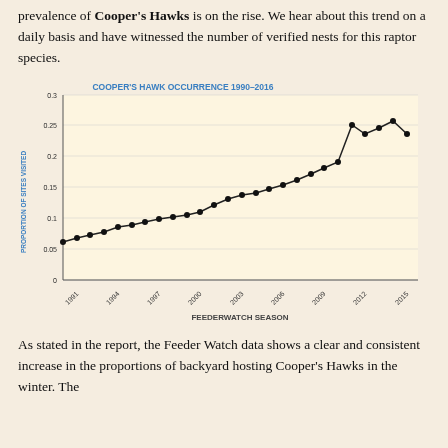prevalence of Cooper's Hawks is on the rise. We hear about this trend on a daily basis and have witnessed the number of verified nests for this raptor species.
[Figure (line-chart): COOPER'S HAWK OCCURRENCE 1990–2016]
As stated in the report, the Feeder Watch data shows a clear and consistent increase in the proportions of backyard hosting Cooper's Hawks in the winter. The